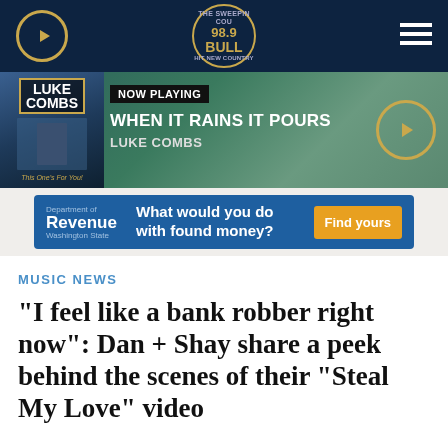[Figure (screenshot): Radio station 98.9 The Bull navigation bar with play button, logo, and hamburger menu on dark navy background]
[Figure (screenshot): Now Playing bar showing Luke Combs album art for 'This One's For You', with song title 'WHEN IT RAINS IT POURS' and artist 'LUKE COMBS', plus play button]
[Figure (screenshot): Advertisement banner for Washington State Department of Revenue: 'What would you do with found money? Find yours']
MUSIC NEWS
“I feel like a bank robber right now”: Dan + Shay share a peek behind the scenes of their “Steal My Love” video